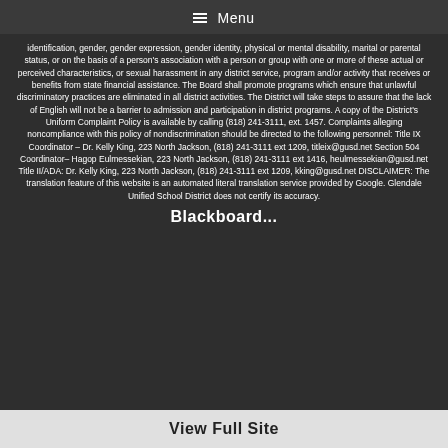Menu
identification, gender, gender expression, gender identity, physical or mental disability, marital or parental status, or on the basis of a person's association with a person or group with one or more of these actual or perceived characteristics, or sexual harassment in any district service, program and/or activity that receives or benefits from state financial assistance. The Board shall promote programs which ensure that unlawful discriminatory practices are eliminated in all district activities. The District will take steps to assure that the lack of English will not be a barrier to admission and participation in district programs. A copy of the District's Uniform Complaint Policy is available by calling (818) 241-3111, ext. 1457. Complaints alleging noncompliance with this policy of nondiscrimination should be directed to the following personnel: Title IX Coordinator – Dr. Kelly King, 223 North Jackson, (818) 241-3111 ext 1209, titleix@gusd.net Section 504 Coordinator– Hagop Eulmessekian, 223 North Jackson, (818) 241-3111 ext 1416, heulmessekian@gusd.net Title II/ADA: Dr. Kelly King, 223 North Jackson, (818) 241-3111 ext 1209, kking@gusd.net DISCLAIMER: The translation feature of this website is an automated literal translation service provided by Google. Glendale Unified School District does not certify its accuracy.
Blackboard...
View Full Site